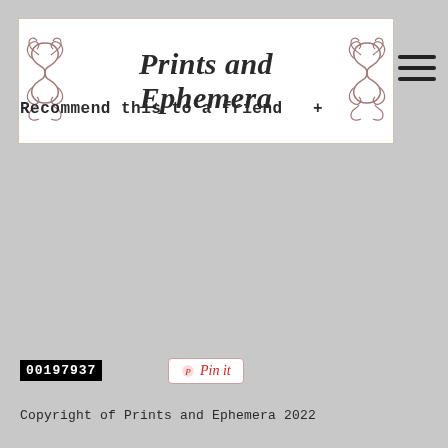Prints and Ephemera
Recommend this to a friend  +
00197937
[Figure (other): Pin it button with red text on white background with light red border]
Copyright of Prints and Ephemera 2022